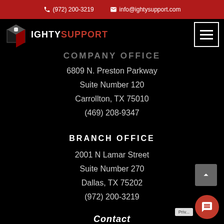(972) 200-3219   info@ightysupport.com
[Figure (logo): Mighty Support logo with box icon and red SUPPORT text]
COMPANY OFFICE
6809 N. Preston Parkway
Suite Number 120
Carrollton, TX 75010
(469) 208-9347
BRANCH OFFICE
2001 N Lamar Street
Suite Number 270
Dallas, TX 75202
(972) 200-3219
Contact